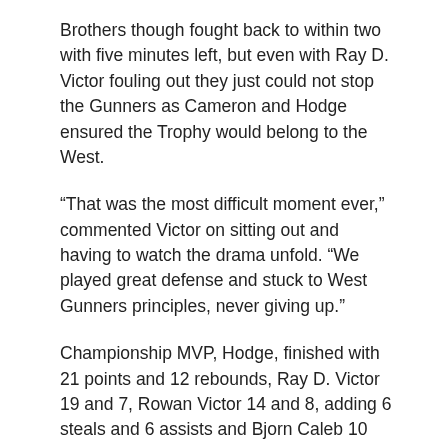Brothers though fought back to within two with five minutes left, but even with Ray D. Victor fouling out they just could not stop the Gunners as Cameron and Hodge ensured the Trophy would belong to the West.
“That was the most difficult moment ever,” commented Victor on sitting out and having to watch the drama unfold. “We played great defense and stuck to West Gunners principles, never giving up.”
Championship MVP, Hodge, finished with 21 points and 12 rebounds, Ray D. Victor 19 and 7, Rowan Victor 14 and 8, adding 6 steals and 6 assists and Bjorn Caleb 10 rebounds.
“It feels great to win,” stated Rowan Victor. “We played with great unity, stuck together and came up with the win.” The Splash Brothers were led by 18 points and 12 rebounds by Travis A. Isaac, JB C. Brodie added 17 with 18 rebounds, Shamoii A. Dagou 12, and Charlesworth Georges with 10 and 14.